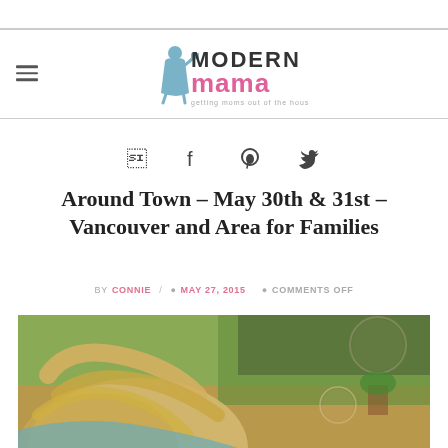Modern Mama – getting moms out of the house.
Around Town – May 30th & 31st – Vancouver and Area for Families
BY CONNIE / MAY 27, 2015 COMMENTS OFF
[Figure (photo): Child with blonde hair outdoors with bubbles in background]